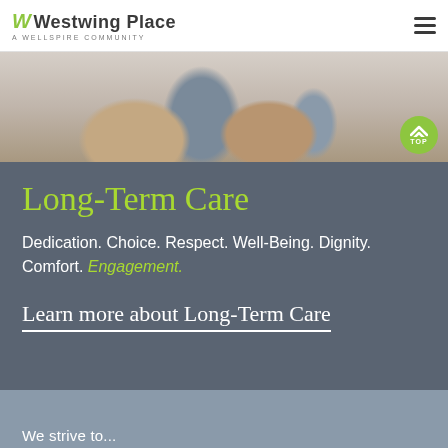Westwing Place — A Wellspire Community
[Figure (photo): Close-up photo of two elderly people's hands holding a tablet device, with soft neutral tones]
Long-Term Care
Dedication. Choice. Respect. Well-Being. Dignity. Comfort. Engagement.
Learn more about Long-Term Care
We strive to...